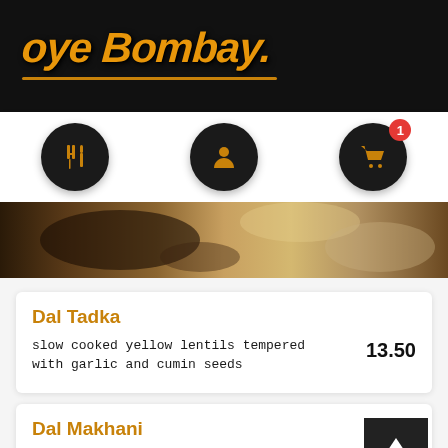Oye Bombay.
[Figure (infographic): Navigation icons row with three circular black buttons: a fork-and-knife icon, a profile/person icon, and a shopping cart icon with a red badge showing '1']
[Figure (photo): Food photo strip showing Indian food items — lentils and bread in dark earthy tones]
Dal Tadka
slow cooked yellow lentils tempered with garlic and cumin seeds
13.50
Dal Makhani
our signature black lentils cooked overnight on clay oven